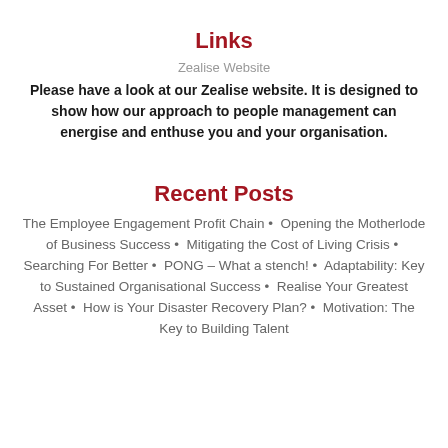Links
Zealise Website
Please have a look at our Zealise website. It is designed to show how our approach to people management can energise and enthuse you and your organisation.
Recent Posts
The Employee Engagement Profit Chain • Opening the Motherlode of Business Success • Mitigating the Cost of Living Crisis • Searching For Better • PONG – What a stench! • Adaptability: Key to Sustained Organisational Success • Realise Your Greatest Asset • How is Your Disaster Recovery Plan? • Motivation: The Key to Building Talent